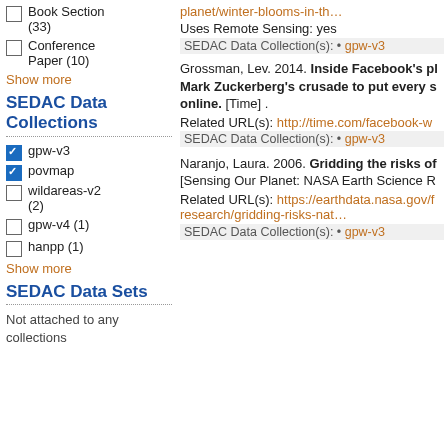Book Section (33)
Conference Paper (10)
Show more
SEDAC Data Collections
gpw-v3 [checked]
povmap [checked]
wildareas-v2 (2)
gpw-v4 (1)
hanpp (1)
Show more
SEDAC Data Sets
Not attached to any collections
planet/winter-blooms-in-th…
Uses Remote Sensing: yes
SEDAC Data Collection(s): • gpw-v3
Grossman, Lev. 2014. Inside Facebook's pl Mark Zuckerberg's crusade to put every s online. [Time] .
Related URL(s): http://time.com/facebook-w
SEDAC Data Collection(s): • gpw-v3
Naranjo, Laura. 2006. Gridding the risks of [Sensing Our Planet: NASA Earth Science R
Related URL(s): https://earthdata.nasa.gov/f research/gridding-risks-nat…
SEDAC Data Collection(s): • gpw-v3